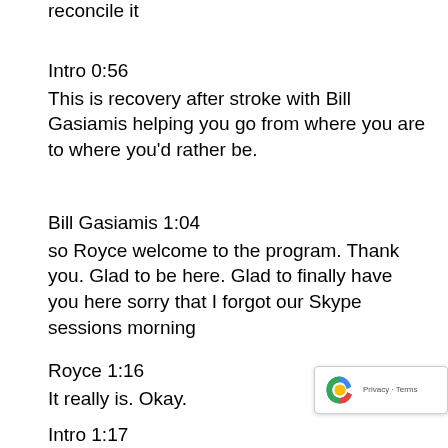reconcile it
Intro 0:56
This is recovery after stroke with Bill Gasiamis helping you go from where you are to where you'd rather be.
Bill Gasiamis 1:04
so Royce welcome to the program. Thank you. Glad to be here. Glad to finally have you here sorry that I forgot our Skype sessions morning
Royce 1:16
It really is. Okay.
Intro 1:17